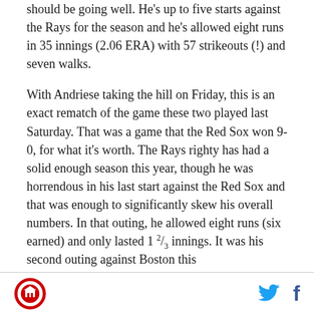should be going well. He's up to five starts against the Rays for the season and he's allowed eight runs in 35 innings (2.06 ERA) with 57 strikeouts (!) and seven walks.
With Andriese taking the hill on Friday, this is an exact rematch of the game these two played last Saturday. That was a game that the Red Sox won 9-0, for what it's worth. The Rays righty has had a solid enough season this year, though he was horrendous in his last start against the Red Sox and that was enough to significantly skew his overall numbers. In that outing, he allowed eight runs (six earned) and only lasted 1 2/3 innings. It was his second outing against Boston this
[logo] [twitter] [facebook]